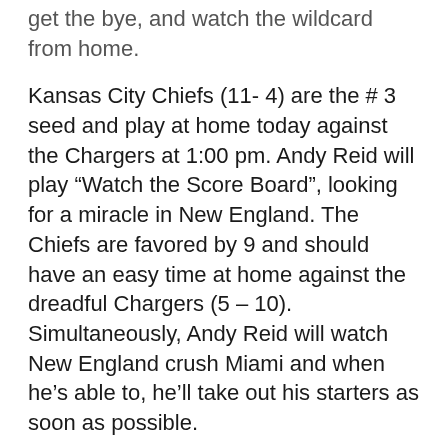get the bye, and watch the wildcard from home.
Kansas City Chiefs (11- 4) are the # 3 seed and play at home today against the Chargers at 1:00 pm. Andy Reid will play “Watch the Score Board”, looking for a miracle in New England. The Chiefs are favored by 9 and should have an easy time at home against the dreadful Chargers (5 – 10). Simultaneously, Andy Reid will watch New England crush Miami and when he’s able to, he’ll take out his starters as soon as possible.
If the above teams play to form, the top 3 seeds will not change.
Houston Texans (10 – 5) are the #4 seed and play today at 4:25 PM against the Tennessee Titans. They also win the tie breaker against KC. The two teams played in Week 6, with the Texans winning 31 – 24. Houston also beat Tennessee 2 weeks ago without Derrick Henry, going 24 – 21.